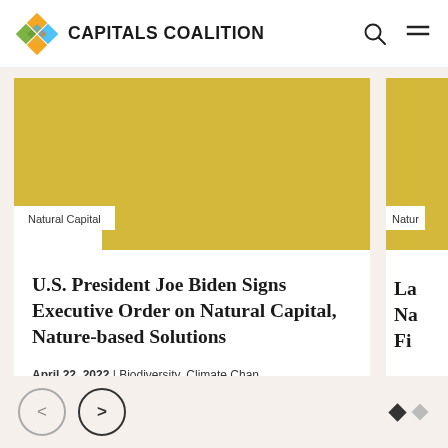CAPITALS COALITION
[Figure (screenshot): Website screenshot of Capitals Coalition showing a news card with yellow/gold image banner, 'Natural Capital' tag, article title, date and categories]
Natural Capital
U.S. President Joe Biden Signs Executive Order on Natural Capital, Nature-based Solutions
April 22, 2022 | Biodiversity, Climate Chan...
Natur
La... Na... Fi...